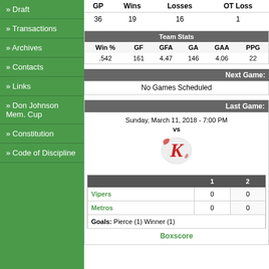» Draft
» Transactions
» Archives
» Contacts
» Links
» Don Johnson Mem. Cup
» Constitution
» Code of Discipline
| GP | Wins | Losses | OT Loss |
| --- | --- | --- | --- |
| 36 | 19 | 16 | 1 |
| Team Stats |  |  |  |  |  |
| --- | --- | --- | --- | --- | --- |
| Win % | GF | GFA | GA | GAA | PPG |
| .542 | 161 | 4.47 | 146 | 4.06 | 22 |
| Next Game: |
| --- |
| No Games Scheduled |
| Last Game: |
| --- |
| Sunday, March 11, 2018 - 7:00 PM | vs |
|  |  |
| Vipers | 0 |  |
| Metros | 0 |  |
| Goals: Pierce (1) Winner (1) |
| Boxscore |